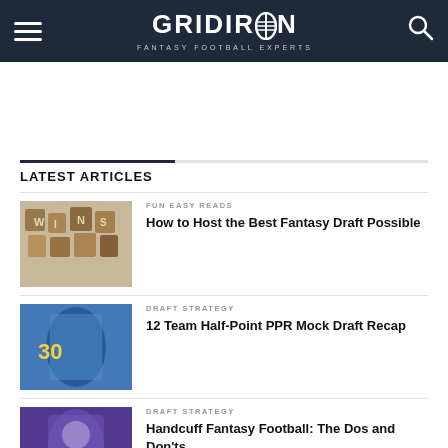GRIDIRON FANTASY FOOTBALL EXPERTS
LATEST ARTICLES
[Figure (photo): Wooden letter tiles spelling text, used as article thumbnail]
FUN EASY READS
How to Host the Best Fantasy Draft Possible
[Figure (photo): LA Chargers NFL player in blue uniform #30 running with football]
DRAFT STRATEGY
12 Team Half-Point PPR Mock Draft Recap
[Figure (photo): NFL player in purple Minnesota Vikings uniform, article thumbnail]
DRAFT STRATEGY
Handcuff Fantasy Football: The Dos and Don'ts